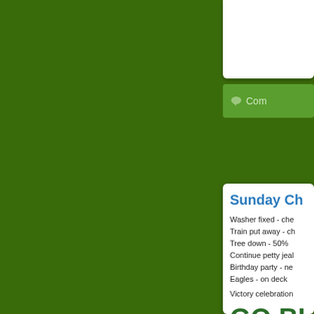Feb 17, 2009 11:47:
Com
Sunday Ch
Washer fixed - che
Train put away - ch
Tree down - 50%
Continue petty jeal
Birthday party - ne
Eagles - on deck
Victory celebration
GO BI
Jan 18, 2009 12:10: